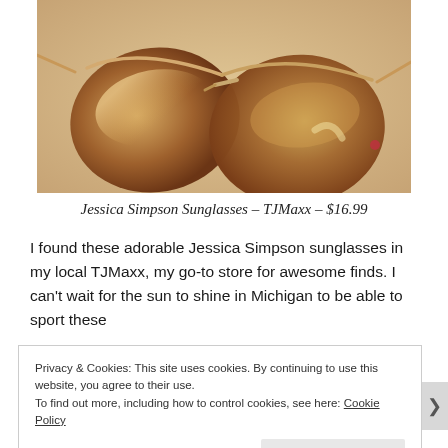[Figure (photo): Close-up photo of aviator-style sunglasses with brown gradient lenses and gold/rose gold metal frames on a white surface]
Jessica Simpson Sunglasses – TJMaxx – $16.99
I found these adorable Jessica Simpson sunglasses in my local TJMaxx, my go-to store for awesome finds. I can't wait for the sun to shine in Michigan to be able to sport these
Privacy & Cookies: This site uses cookies. By continuing to use this website, you agree to their use.
To find out more, including how to control cookies, see here: Cookie Policy
Close and accept